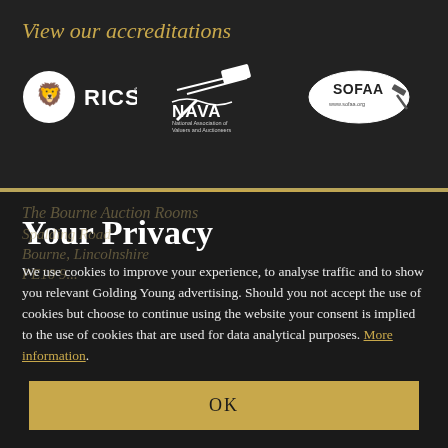View our accreditations
[Figure (logo): RICS logo - lion head with RICS text]
[Figure (logo): NAVA logo - National Association of Valuers and Auctioneers with gavel icon]
[Figure (logo): SOFAA logo in oval with www.sofaa.org]
Your Privacy
We use cookies to improve your experience, to analyse traffic and to show you relevant Golding Young advertising. Should you not accept the use of cookies but choose to continue using the website your consent is implied to the use of cookies that are used for data analytical purposes. More information.
OK